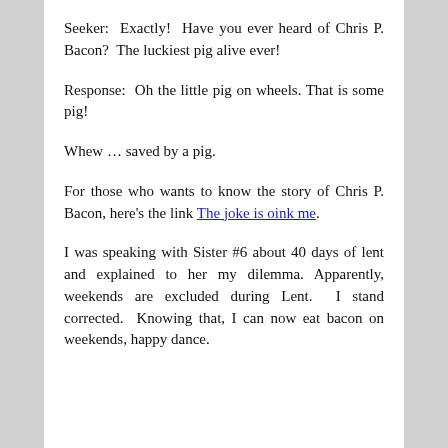Seeker:  Exactly!  Have you ever heard of Chris P. Bacon?  The luckiest pig alive ever!
Response:  Oh the little pig on wheels. That is some pig!
Whew … saved by a pig.
For those who wants to know the story of Chris P. Bacon, here's the link The joke is oink me.
I was speaking with Sister #6 about 40 days of lent and explained to her my dilemma. Apparently, weekends are excluded during Lent.  I stand corrected.  Knowing that, I can now eat bacon on weekends, happy dance.